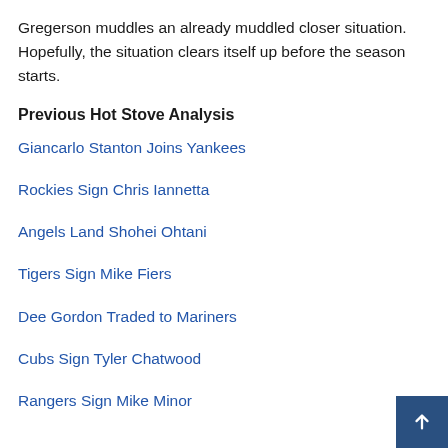Gregerson muddles an already muddled closer situation. Hopefully, the situation clears itself up before the season starts.
Previous Hot Stove Analysis
Giancarlo Stanton Joins Yankees
Rockies Sign Chris Iannetta
Angels Land Shohei Ohtani
Tigers Sign Mike Fiers
Dee Gordon Traded to Mariners
Cubs Sign Tyler Chatwood
Rangers Sign Mike Minor